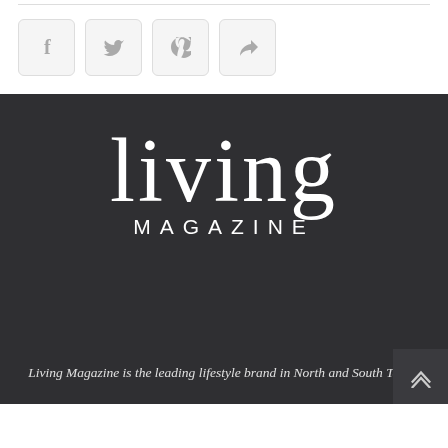[Figure (other): Four social sharing buttons (Facebook, Twitter, Pinterest, Share) with light gray rounded borders on white background]
[Figure (logo): Living Magazine logo in white on dark charcoal background — large serif 'living' text above smaller spaced-out 'MAGAZINE' text]
Living Magazine is the leading lifestyle brand in North and South Texas.